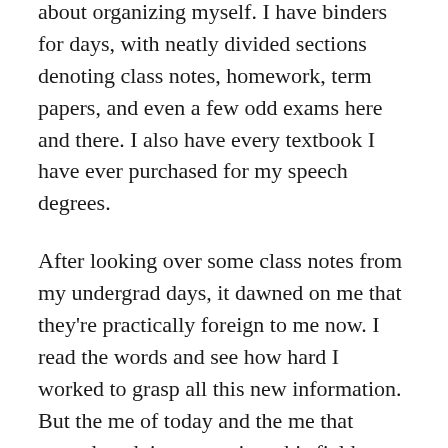about organizing myself. I have binders for days, with neatly divided sections denoting class notes, homework, term papers, and even a few odd exams here and there. I also have every textbook I have ever purchased for my speech degrees.
After looking over some class notes from my undergrad days, it dawned on me that they're practically foreign to me now. I read the words and see how hard I worked to grasp all this new information. But the me of today and the me that started studying to get into this field nearly nine years ago are two very different people.
Part of me wants to break free of the old, and embrace the new. Start fresh. Embrace the new me, keep my books for references, and renew things from the vantage that every new day of work brings to me.